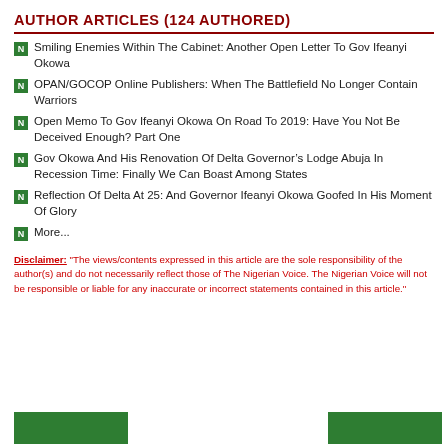AUTHOR ARTICLES (124 AUTHORED)
Smiling Enemies Within The Cabinet: Another Open Letter To Gov Ifeanyi Okowa
OPAN/GOCOP Online Publishers: When The Battlefield No Longer Contain Warriors
Open Memo To Gov Ifeanyi Okowa On Road To 2019: Have You Not Be Deceived Enough? Part One
Gov Okowa And His Renovation Of Delta Governor’s Lodge Abuja In Recession Time: Finally We Can Boast Among States
Reflection Of Delta At 25: And Governor Ifeanyi Okowa Goofed In His Moment Of Glory
More...
Disclaimer: "The views/contents expressed in this article are the sole responsibility of the author(s) and do not necessarily reflect those of The Nigerian Voice. The Nigerian Voice will not be responsible or liable for any inaccurate or incorrect statements contained in this article."